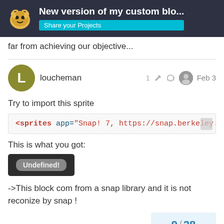New version of my custom blo... | Share your Projects
far from achieving our objective...
loucheman   1   Feb 3
Try to import this sprite
<sprites app="Snap! 7, https://snap.berkeley...
This is what you got:
[Figure (screenshot): Dark block showing 'Undefined!' label in gray on dark background]
->This block com from a snap library and it is not reconize by snap !
this is the block:
[Figure (screenshot): Yellow/orange block at bottom of page]
9 / 28